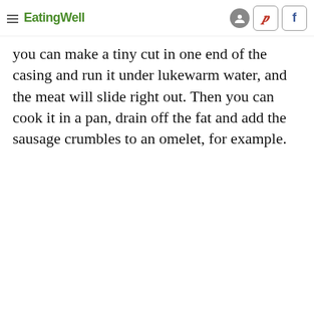EatingWell
you can make a tiny cut in one end of the casing and run it under lukewarm water, and the meat will slide right out. Then you can cook it in a pan, drain off the fat and add the sausage crumbles to an omelet, for example.